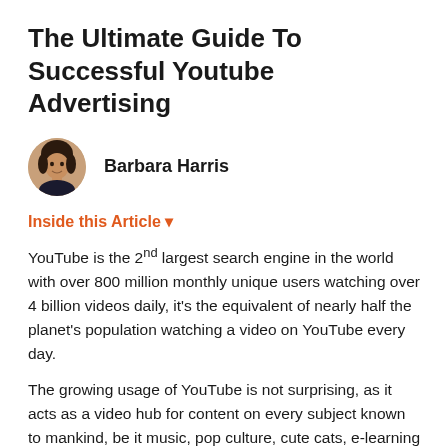The Ultimate Guide To Successful Youtube Advertising
[Figure (photo): Circular avatar photo of Barbara Harris, a woman with dark hair and a smile]
Barbara Harris
Inside this Article ▼
YouTube is the 2nd largest search engine in the world with over 800 million monthly unique users watching over 4 billion videos daily, it's the equivalent of nearly half the planet's population watching a video on YouTube every day.
The growing usage of YouTube is not surprising, as it acts as a video hub for content on every subject known to mankind, be it music, pop culture, cute cats, e-learning and much more.
So we know that YouTube is a media empire, but is advertising on YouTube actually effective? If you use it like